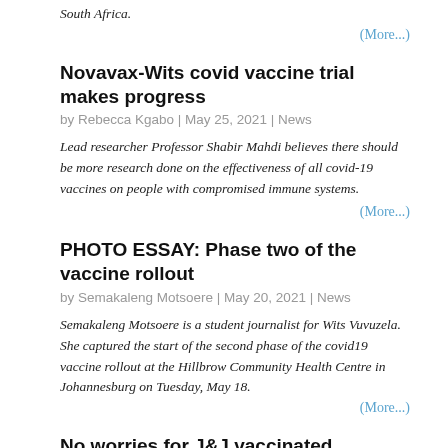South Africa.
(More...)
Novavax-Wits covid vaccine trial makes progress
by Rebecca Kgabo | May 25, 2021 | News
Lead researcher Professor Shabir Mahdi believes there should be more research done on the effectiveness of all covid-19 vaccines on people with compromised immune systems.
(More...)
PHOTO ESSAY: Phase two of the vaccine rollout
by Semakaleng Motsoere | May 20, 2021 | News
Semakaleng Motsoere is a student journalist for Wits Vuvuzela. She captured the start of the second phase of the covid19 vaccine rollout at the Hillbrow Community Health Centre in Johannesburg on Tuesday, May 18.
(More...)
No worries for J&J vaccinated students
by Rebecca Kgabo | Apr 22, 2021 | News